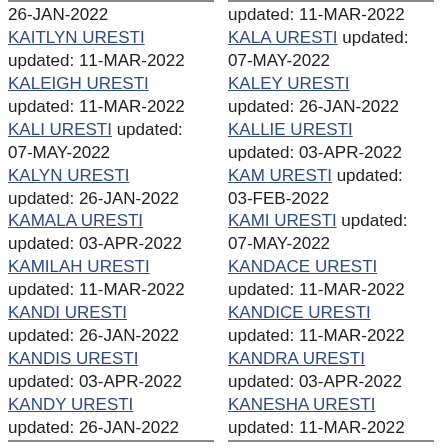26-JAN-2022
KAITLYN URESTI updated: 11-MAR-2022
KALEIGH URESTI updated: 11-MAR-2022
KALI URESTI updated: 07-MAY-2022
KALYN URESTI updated: 26-JAN-2022
KAMALA URESTI updated: 03-APR-2022
KAMILAH URESTI updated: 11-MAR-2022
KANDI URESTI updated: 26-JAN-2022
KANDIS URESTI updated: 03-APR-2022
KANDY URESTI updated: 26-JAN-2022
KANIYA URESTI (partially visible)
updated: 11-MAR-2022
KALA URESTI updated: 07-MAY-2022
KALEY URESTI updated: 26-JAN-2022
KALLIE URESTI updated: 03-APR-2022
KAM URESTI updated: 03-FEB-2022
KAMI URESTI updated: 07-MAY-2022
KANDACE URESTI updated: 11-MAR-2022
KANDICE URESTI updated: 11-MAR-2022
KANDRA URESTI updated: 03-APR-2022
KANESHA URESTI updated: 11-MAR-2022
KARI URESTI (partially visible)